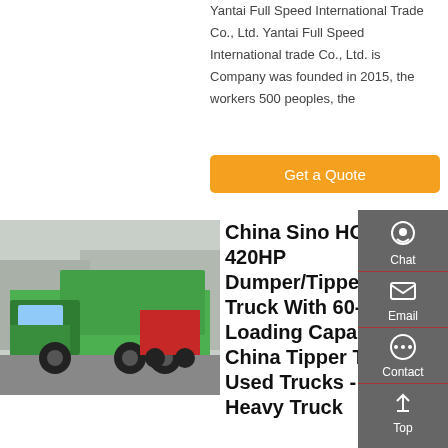Yantai Full Speed International Trade Co., Ltd. Yantai Full Speed International trade Co., Ltd. is Company was founded in 2015, the workers 500 peoples, the
[Figure (other): Orange 'Get a Quote' button]
[Figure (photo): Green Sino HOWO dump truck parked in a yard with other trucks in background]
China Sino HOWO 420HP Dumper/Tipper/Dump Truck With 60-70t Loading Capacity China Tipper Truck, Used Trucks - China Heavy Truck
[Figure (infographic): Dark gray sidebar with Chat, Email, Contact, and Top navigation icons]